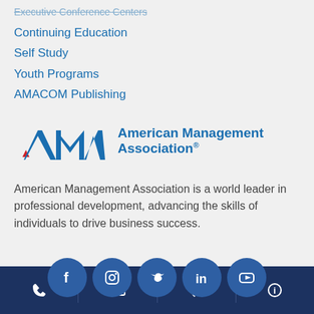Executive Conference Centers
Continuing Education
Self Study
Youth Programs
AMACOM Publishing
[Figure (logo): AMA - American Management Association logo with red triangle accent and blue text]
American Management Association is a world leader in professional development, advancing the skills of individuals to drive business success.
[Figure (infographic): Social media icons row: Facebook, Instagram, Twitter, LinkedIn, YouTube - dark blue circles]
Phone | Email | Chat | Info - bottom navigation bar icons